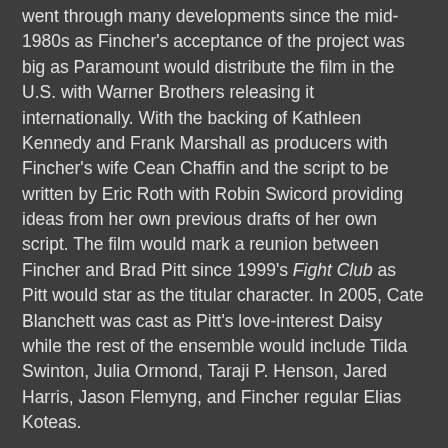went through many developments since the mid-1980s as Fincher's acceptance of the project was big as Paramount would distribute the film in the U.S. with Warner Brothers releasing it internationally. With the backing of Kathleen Kennedy and Frank Marshall as producers with Fincher's wife Cean Chaffin and the script to be written by Eric Roth with Robin Swicord providing ideas from her own previous drafts of her own script. The film would mark a reunion between Fincher and Brad Pitt since 1999's Fight Club as Pitt would star as the titular character. In 2005, Cate Blanchett was cast as Pitt's love-interest Daisy while the rest of the ensemble would include Tilda Swinton, Julia Ormond, Taraji P. Henson, Jared Harris, Jason Flemyng, and Fincher regular Elias Koteas.
With the script updated to be set in the 20th Century in New Orleans, the film would be the first production set in the city since Hurricane Katrina ravaged the city in 2005. Fincher would get the services of Claudio Miranda who did some shooting on Zodiac as he would fill in for Harris Savides who was unavailable at the time. Shooting began in November of 2006 around the time Fincher was still finishing up the editing of Zodiac as it was shot in and around New Orleans.